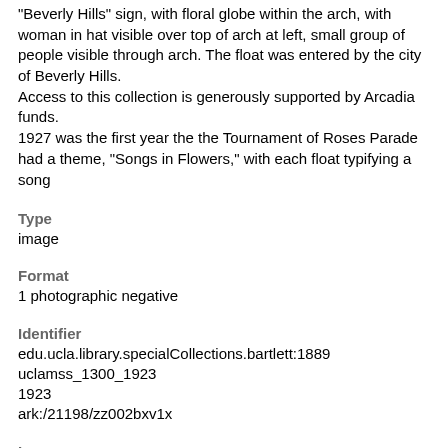"Beverly Hills" sign, with floral globe within the arch, with woman in hat visible over top of arch at left, small group of people visible through arch. The float was entered by the city of Beverly Hills. Access to this collection is generously supported by Arcadia funds. 1927 was the first year the the Tournament of Roses Parade had a theme, "Songs in Flowers," with each float typifying a song
Type
image
Format
1 photographic negative
Identifier
edu.ucla.library.specialCollections.bartlett:1889
uclamss_1300_1923
1923
ark:/21198/zz002bxv1x
Language
No linguistic content
Subject